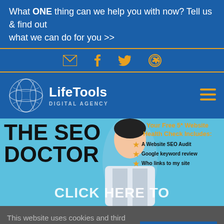What ONE thing can we help you with now? Tell us & find out what we can do for you >>
[Figure (illustration): Social icons bar: email envelope, Facebook, Twitter bird, phone icons in gold on blue background]
[Figure (logo): LifeTools Digital Agency logo: globe/sphere icon with LifeTools brand name and DIGITAL AGENCY subtitle on blue background, with hamburger menu icon on right]
[Figure (illustration): Hero banner: light blue background, large text THE SEO DOCTOR in bold black, animated doctor character in center, right side shows Your Free 5* Website Health Check Includes with bullet points: A Website SEO Audit, Google keyword review, Who links to my site. Overlay text CLICK HERE TO in white bold.]
This website uses cookies and third party services.